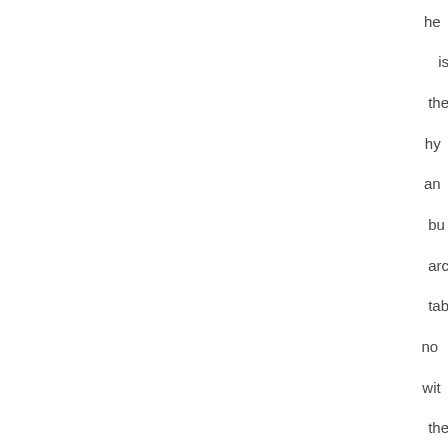he
is
the
hy
an
bu
arc
tab
no
wit
the
iPa
fev
Ob
the
wo
ha
ha